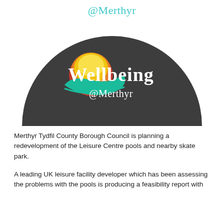@Merthyr
[Figure (logo): Wellbeing @Merthyr logo: semicircular dark grey badge with a stylised sun (orange/yellow/red) and wave/hand (teal) graphic, white text reading 'Wellbeing @Merthyr']
Merthyr Tydfil County Borough Council is planning a redevelopment of the Leisure Centre pools and nearby skate park.
A leading UK leisure facility developer which has been assessing the problems with the pools is producing a feasibility report with